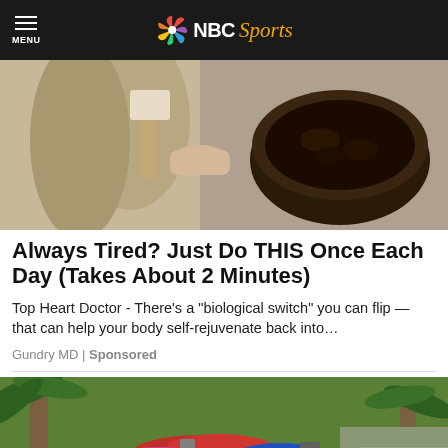MENU | NBC Sports
[Figure (photo): A man in a suit pointing at a dark substance in a bowl]
Always Tired? Just Do THIS Once Each Day (Takes About 2 Minutes)
Top Heart Doctor - There’s a “biological switch” you can flip — that can help your body self-rejuvenate back into…
Gundry MD | Sponsored
[Figure (photo): A green dumpster overflowing with clothes and miscellaneous items, with palm trees in the background]